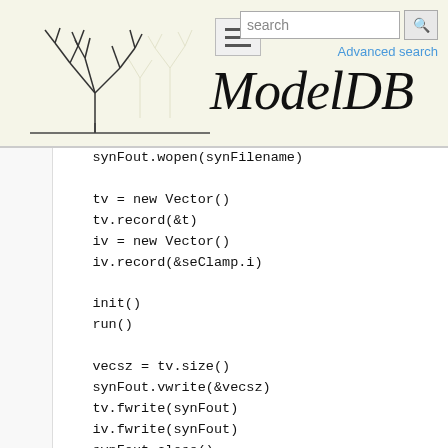ModelDB — search interface with navigation
synFout.wopen(synFilename)

tv = new Vector()
tv.record(&t)
iv = new Vector()
iv.record(&seClamp.i)

init()
run()

vecsz = tv.size()
synFout.vwrite(&vecsz)
tv.fwrite(synFout)
iv.fwrite(synFout)
synFout.close()

sprint(synFilename,"%s_tR%.4f_tF%.2_dist.txt",$s5,$2,$3,$4)
synFout = new File()
synFout.wopen(synFilename)